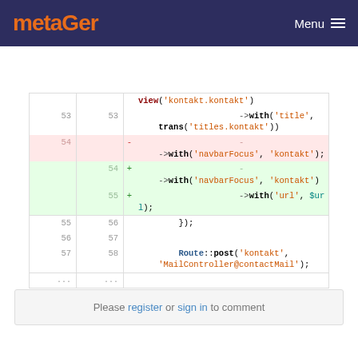metaGer  Menu
[Figure (screenshot): Code diff view showing PHP route code changes. Lines 53-58 with deleted and added lines for ->with('navbarFocus', 'kontakt') and new ->with('url', $url) addition.]
Please register or sign in to comment